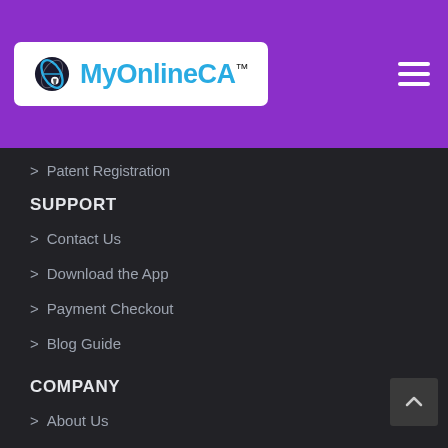[Figure (logo): MyOnlineCA logo with pen icon on white background, inside purple navigation bar with hamburger menu]
> Patent Registration
SUPPORT
> Contact Us
> Download the App
> Payment Checkout
> Blog Guide
COMPANY
> About Us
> Join Us : Hiring
> Reviews
> Affiliate Programme